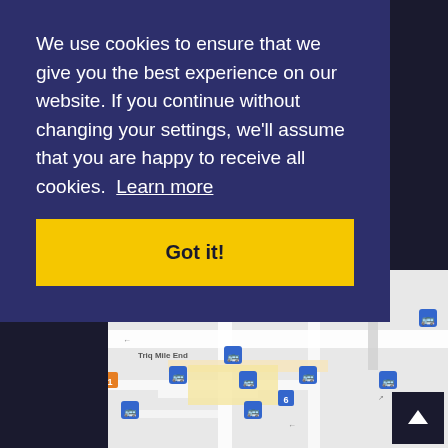We use cookies to ensure that we give you the best experience on our website. If you continue without changing your settings, we'll assume that you are happy to receive all cookies. Learn more
Got it!
[Figure (map): Street map showing International Protection Agency location with bus stop icons along Triq Mile End and surrounding streets. Multiple blue bus stop markers visible on the map.]